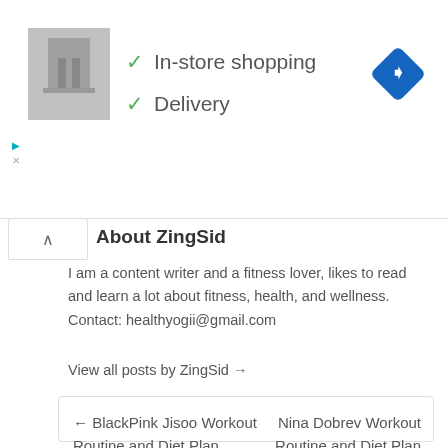[Figure (screenshot): Store thumbnail image, grayscale photo of shelves]
✓ In-store shopping
✓ Delivery
[Figure (illustration): Blue diamond navigation/directions icon with right arrow]
About ZingSid
I am a content writer and a fitness lover, likes to read and learn a lot about fitness, health, and wellness. Contact: healthyogii@gmail.com
View all posts by ZingSid →
← BlackPink Jisoo Workout Routine and Diet Plan
Nina Dobrev Workout Routine and Diet Plan [2020] →